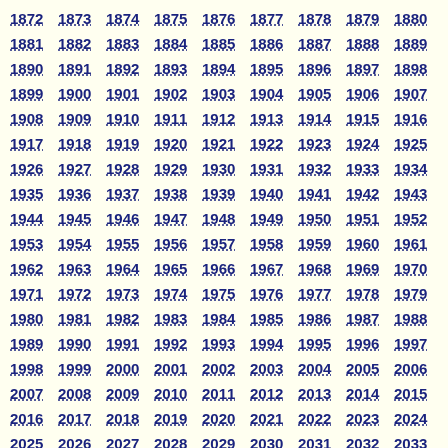1872 1873 1874 1875 1876 1877 1878 1879 1880 1881 1882 1883 1884 1885 1886 1887 1888 1889 1890 1891 1892 1893 1894 1895 1896 1897 1898 1899 1900 1901 1902 1903 1904 1905 1906 1907 1908 1909 1910 1911 1912 1913 1914 1915 1916 1917 1918 1919 1920 1921 1922 1923 1924 1925 1926 1927 1928 1929 1930 1931 1932 1933 1934 1935 1936 1937 1938 1939 1940 1941 1942 1943 1944 1945 1946 1947 1948 1949 1950 1951 1952 1953 1954 1955 1956 1957 1958 1959 1960 1961 1962 1963 1964 1965 1966 1967 1968 1969 1970 1971 1972 1973 1974 1975 1976 1977 1978 1979 1980 1981 1982 1983 1984 1985 1986 1987 1988 1989 1990 1991 1992 1993 1994 1995 1996 1997 1998 1999 2000 2001 2002 2003 2004 2005 2006 2007 2008 2009 2010 2011 2012 2013 2014 2015 2016 2017 2018 2019 2020 2021 2022 2023 2024 2025 2026 2027 2028 2029 2030 2031 2032 2033